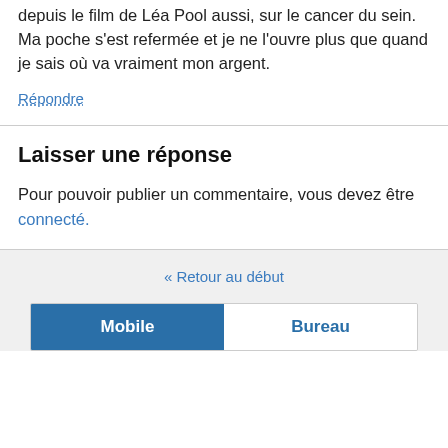depuis le film de Léa Pool aussi, sur le cancer du sein. Ma poche s'est refermée et je ne l'ouvre plus que quand je sais où va vraiment mon argent.
Répondre
Laisser une réponse
Pour pouvoir publier un commentaire, vous devez être connecté.
Retour au début
Mobile  Bureau